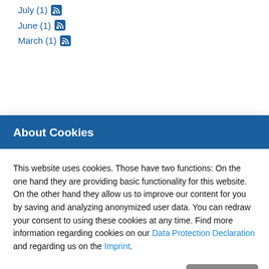July (1)
June (1)
March (1)
About Cookies
This website uses cookies. Those have two functions: On the one hand they are providing basic functionality for this website. On the other hand they allow us to improve our content for you by saving and analyzing anonymized user data. You can redraw your consent to using these cookies at any time. Find more information regarding cookies on our Data Protection Declaration and regarding us on the Imprint.
Settings +
Save
Accept all cookies
CONTACT